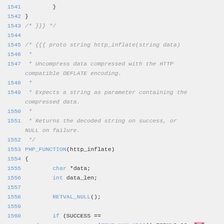Source code listing lines 1541-1560, showing PHP_FUNCTION(http_inflate) implementation with comment block describing function purpose